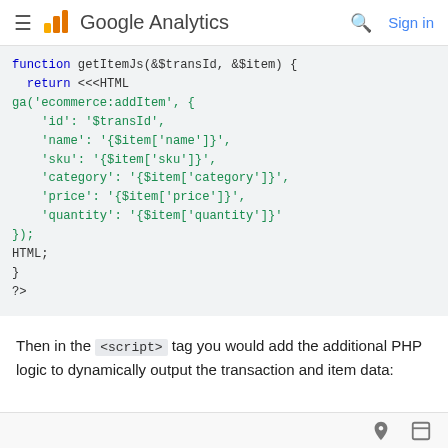≡  Google Analytics   🔍  Sign in
[Figure (screenshot): Code block showing PHP function getItemJs with heredoc syntax returning Google Analytics ga('ecommerce:addItem') call with fields: id, name, sku, category, price, quantity]
Then in the <script> tag you would add the additional PHP logic to dynamically output the transaction and item data: